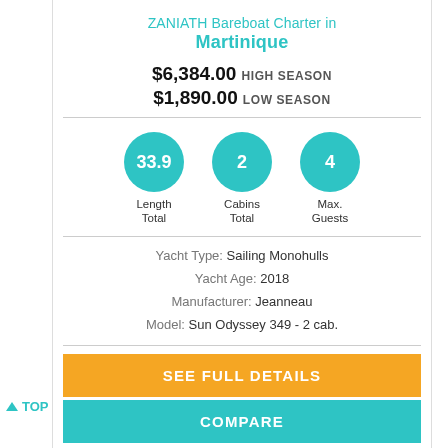ZANIATH Bareboat Charter in Martinique
$6,384.00 HIGH SEASON
$1,890.00 LOW SEASON
[Figure (infographic): Three teal circles showing: 33.9 Length Total, 2 Cabins Total, 4 Max. Guests]
Yacht Type: Sailing Monohulls
Yacht Age: 2018
Manufacturer: Jeanneau
Model: Sun Odyssey 349 - 2 cab.
SEE FULL DETAILS
COMPARE
▲ TOP